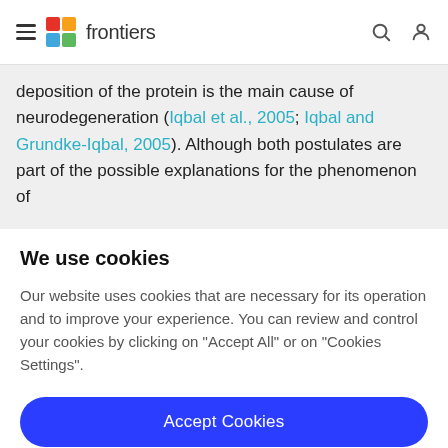frontiers
deposition of the protein is the main cause of neurodegeneration (Iqbal et al., 2005; Iqbal and Grundke-Iqbal, 2005). Although both postulates are part of the possible explanations for the phenomenon of
We use cookies
Our website uses cookies that are necessary for its operation and to improve your experience. You can review and control your cookies by clicking on "Accept All" or on "Cookies Settings".
Accept Cookies
Cookies Settings